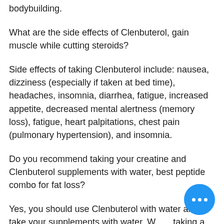bodybuilding.
What are the side effects of Clenbuterol, gain muscle while cutting steroids?
Side effects of taking Clenbuterol include: nausea, dizziness (especially if taken at bed time), headaches, insomnia, diarrhea, fatigue, increased appetite, decreased mental alertness (memory loss), fatigue, heart palpitations, chest pain (pulmonary hypertension), and insomnia.
Do you recommend taking your creatine and Clenbuterol supplements with water, best peptide combo for fat loss?
Yes, you should use Clenbuterol with water and take your supplements with water. When taking a Clenbuterol supplement with water, you could have constipation, diarrhea, or other diarrhea-related side effects.
[Figure (illustration): Blue circular chat button with three white dots in the bottom right corner of the page.]